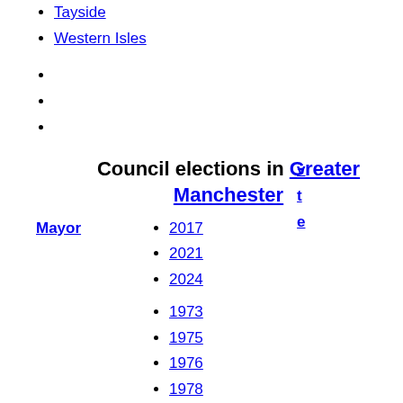Tayside
Western Isles
v
t
e
Council elections in Greater Manchester
Mayor
2017
2021
2024
1973
1975
1976
1978
1979
1980
1982
1983
1984
1986
1987
1988